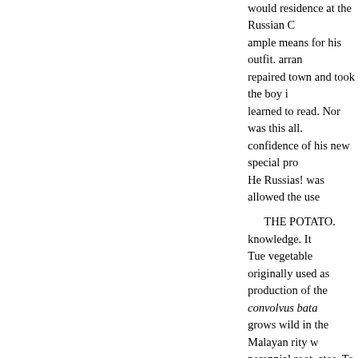would residence at the Russian C ample means for his outfit. arran repaired town and took the boy i learned to read. Nor was this all. confidence of his new special pro He Russias! was allowed the use
THE POTATO. knowledge. It Tue vegetable originally used as production of the convolvus bata grows wild in the Malayan rity w perennial root, ates. To gratify bi master had a little room finished shop, where he de- tubers (the ed introduced from South America b who cultivated them in his matic them branches. After being in thi at tea with the family of cold; bu he of France and Spain. They ha
vantage of being difficult to pres mouldy. These are the potathat th contemporaries. youth had thus s with his situation " for what?"
persons of depraved constitutio